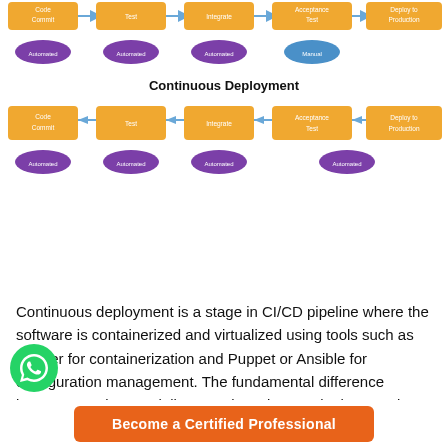[Figure (flowchart): Two CI/CD pipeline diagrams. Top (partial, cut off): Continuous Delivery pipeline showing Code Commit -> Test -> Integrate -> Acceptance Test -> Deploy to Production, with Automated/Manual labels below each step. Bottom: Continuous Deployment pipeline showing the same steps all labeled Automated.]
Continuous deployment is a stage in CI/CD pipeline where the software is containerized and virtualized using tools such as Docker for containerization and Puppet or Ansible for configuration management. The fundamental difference between continuous delivery and continuous deployment is a manual quality assurance check stage that exists in the
[Figure (other): WhatsApp contact icon - green circle with white phone/chat icon]
Become a Certified Professional